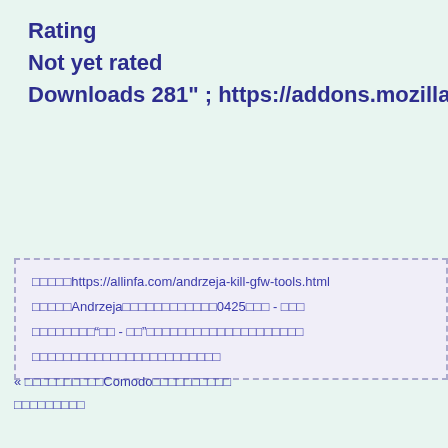Rating
Not yet rated
Downloads 281" ; https://addons.mozilla.org/en-US/fi...
https://allinfa.com/andrzeja-kill-gfw-tools.html
Andrzeja            0425    -
“   -   ”
«           Comodo